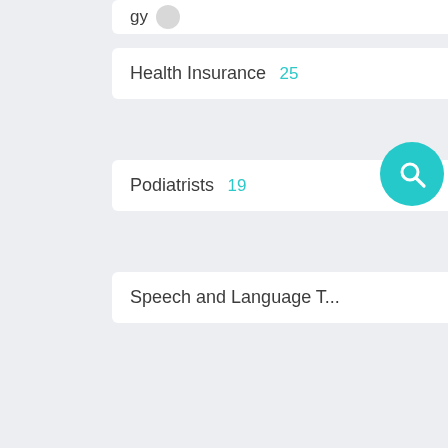Health Insurance 25
Podiatrists 19
Speech and Language T...
Audiologists 9
Reiki 7
Homeopaths 2
Energy Healing & Balanc...
Macmillan Nurses 0
DIET & FITNESS 30